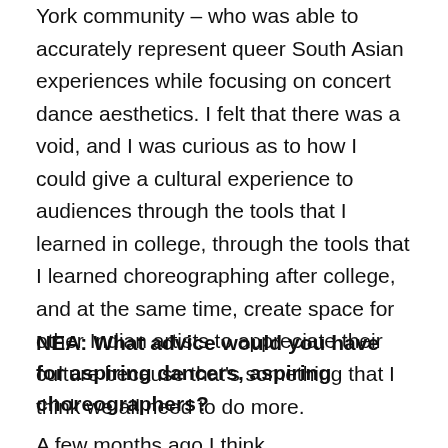York community – who was able to accurately represent queer South Asian experiences while focusing on concert dance aesthetics. I felt that there was a void, and I was curious as to how I could give a cultural experience to audiences through the tools that I learned in college, through the tools that I learned choreographing after college, and at the same time, create space for other Indian artists to appreciate their culture because that's something that I think we all need to do more.
NEA: What advice would you have for aspiring dancers, aspiring choreographers?
A few months ago I think...